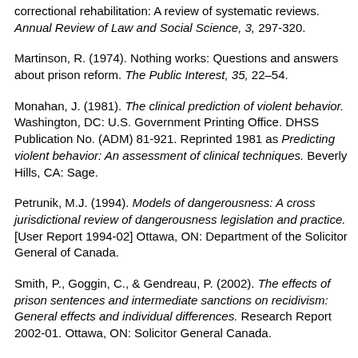correctional rehabilitation: A review of systematic reviews. Annual Review of Law and Social Science, 3, 297-320.
Martinson, R. (1974). Nothing works: Questions and answers about prison reform. The Public Interest, 35, 22–54.
Monahan, J. (1981). The clinical prediction of violent behavior. Washington, DC: U.S. Government Printing Office. DHSS Publication No. (ADM) 81-921. Reprinted 1981 as Predicting violent behavior: An assessment of clinical techniques. Beverly Hills, CA: Sage.
Petrunik, M.J. (1994). Models of dangerousness: A cross jurisdictional review of dangerousness legislation and practice. [User Report 1994-02] Ottawa, ON: Department of the Solicitor General of Canada.
Smith, P., Goggin, C., & Gendreau, P. (2002). The effects of prison sentences and intermediate sanctions on recidivism: General effects and individual differences. Research Report 2002-01. Ottawa, ON: Solicitor General Canada.
Wilson, R.J. (2002). The need for caution on community...